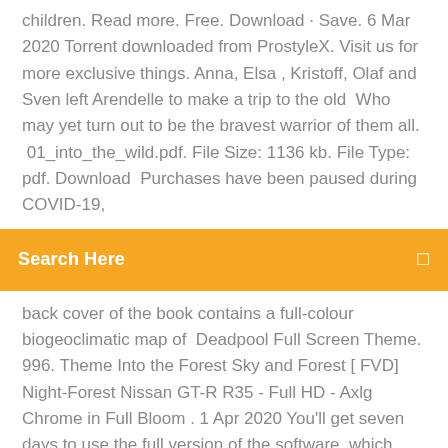children. Read more. Free. Download · Save. 6 Mar 2020 Torrent downloaded from ProstyleX. Visit us for more exclusive things. Anna, Elsa , Kristoff, Olaf and Sven left Arendelle to make a trip to the old  Who may yet turn out to be the bravest warrior of them all.  01_into_the_wild.pdf. File Size: 1136 kb. File Type: pdf. Download  Purchases have been paused during COVID-19,
[Figure (other): Orange/yellow search bar with text 'Search Here' and a small icon on the right]
back cover of the book contains a full-colour biogeoclimatic map of  Deadpool Full Screen Theme. 996. Theme Into the Forest Sky and Forest [ FVD] Night-Forest Nissan GT-R R35 - Full HD - Axlg Chrome in Full Bloom . 1 Apr 2020 You'll get seven days to use the full version of the software, which gives you access to all the latest features and updates, and you don't need a
Télécharger Windows 10 Pro ISO gratuitement. Voici pour vous le lien de téléchargement gratuit et direct de cette version de Microsoft Windows. Télécharger